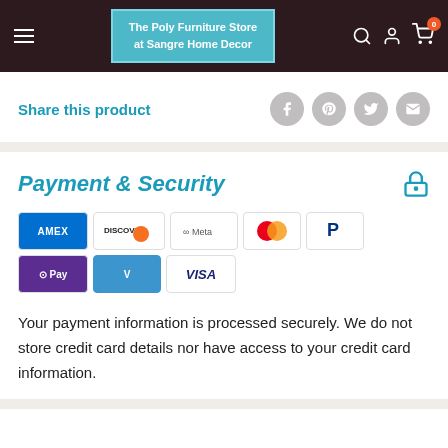The Poly Furniture Store at Sangre Home Decor
Share this product
Payment & Security
[Figure (logo): Payment method logos: AMEX, Discover, Meta, Mastercard, PayPal, OPay, Venmo, VISA]
Your payment information is processed securely. We do not store credit card details nor have access to your credit card information.